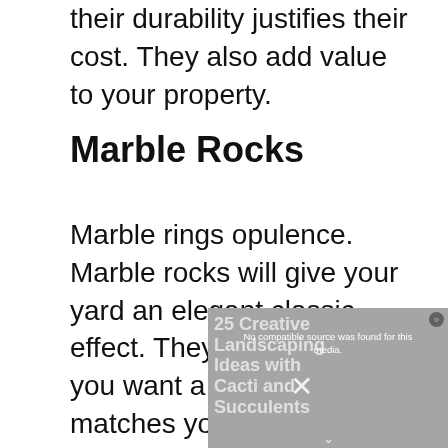their durability justifies their cost. They also add value to your property.
Marble Rocks
Marble rings opulence. Marble rocks will give your yard an elegant classic effect. They tick all boxes if you want a garden that matches your high class.
[Figure (screenshot): Video player overlay showing '25 Creative Landscaping Ideas with Cacti and Succulents' with a 'No compatible source was found for this media.' message and a close X button.]